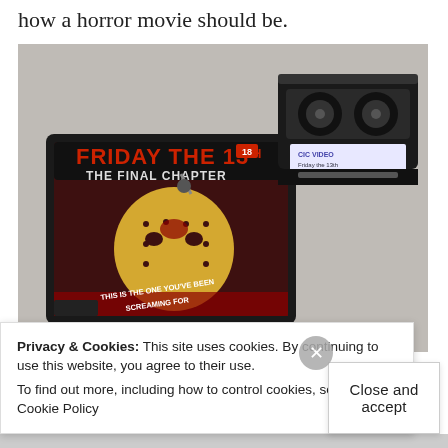how a horror movie should be.
[Figure (photo): A VHS tape box for 'Friday the 13th: The Final Chapter' with Jason's hockey mask on the cover, alongside the VHS cassette itself, on a grey surface.]
Privacy & Cookies: This site uses cookies. By continuing to use this website, you agree to their use.
To find out more, including how to control cookies, see here: Cookie Policy
Close and accept